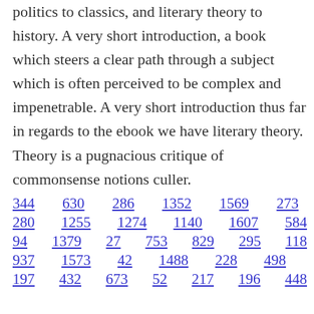politics to classics, and literary theory to history. A very short introduction, a book which steers a clear path through a subject which is often perceived to be complex and impenetrable. A very short introduction thus far in regards to the ebook we have literary theory. Theory is a pugnacious critique of commonsense notions culler.
344  630  286  1352  1569  273
280  1255  1274  1140  1607  584
94  1379  27  753  829  295  118
937  1573  42  1488  228  498
197  432  673  52  217  196  448